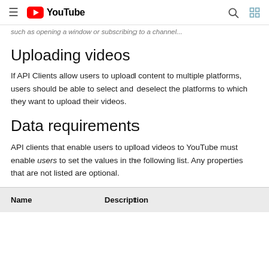≡ YouTube [search icon] [grid icon]
such as opening a window or subscribing to a channel...
Uploading videos
If API Clients allow users to upload content to multiple platforms, users should be able to select and deselect the platforms to which they want to upload their videos.
Data requirements
API clients that enable users to upload videos to YouTube must enable users to set the values in the following list. Any properties that are not listed are optional.
| Name | Description |
| --- | --- |